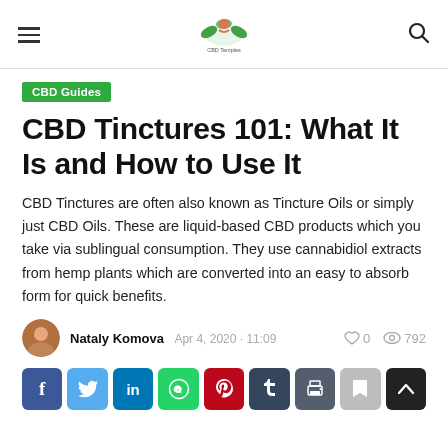CBD Temples (logo navigation header)
CBD Guides
CBD Tinctures 101: What It Is and How to Use It
CBD Tinctures are often also known as Tincture Oils or simply just CBD Oils. These are liquid-based CBD products which you take via sublingual consumption. They use cannabidiol extracts from hemp plants which are converted into an easy to absorb form for quick benefits.
Nataly Komova  Apr 4, 2020 · 11:09  0  792
[Figure (infographic): Social share buttons row: Facebook, Twitter, LinkedIn, WhatsApp, Pinterest, Tumblr, Print, Bookmark, Scroll-up]